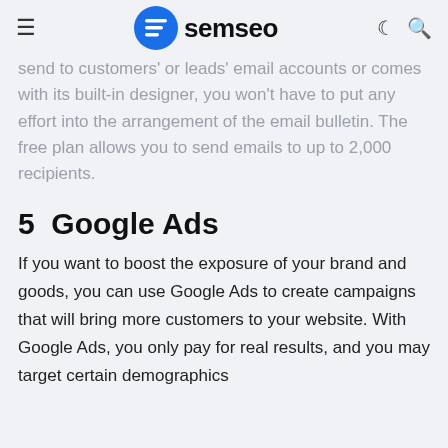semseo
send to customers' or leads' email accounts or comes with its built-in designer, you won't have to put any effort into the arrangement of the email bulletin. The free plan allows you to send emails to up to 2,000 recipients.
5  Google Ads
If you want to boost the exposure of your brand and goods, you can use Google Ads to create campaigns that will bring more customers to your website. With Google Ads, you only pay for real results, and you may target certain demographics